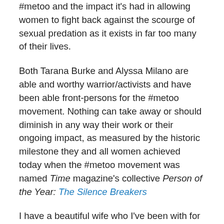#metoo and the impact it's had in allowing women to fight back against the scourge of sexual predation as it exists in far too many of their lives.
Both Tarana Burke and Alyssa Milano are able and worthy warrior/activists and have been able front-persons for the #metoo movement. Nothing can take away or should diminish in any way their work or their ongoing impact, as measured by the historic milestone they and all women achieved today when the #metoo movement was named Time magazine's collective Person of the Year: The Silence Breakers
I have a beautiful wife who I've been with for 42 years. She is a working woman. A good portion of my entire adult life has been spent calculating on a daily and granular level what I might need to do today or tomorrow or twenty